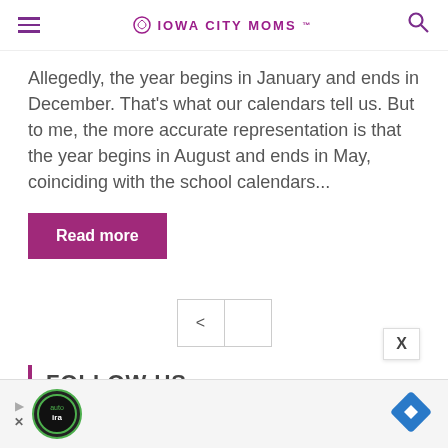IOWA CITY MOMS
Allegedly, the year begins in January and ends in December. That's what our calendars tell us. But to me, the more accurate representation is that the year begins in August and ends in May, coinciding with the school calendars...
Read more
[Figure (other): Pagination controls with left arrow '<' button and a next page button]
FOLLOW US
[Figure (infographic): Advertisement bar at the bottom with play/X controls, a circular auto logo, and a blue diamond navigation icon]